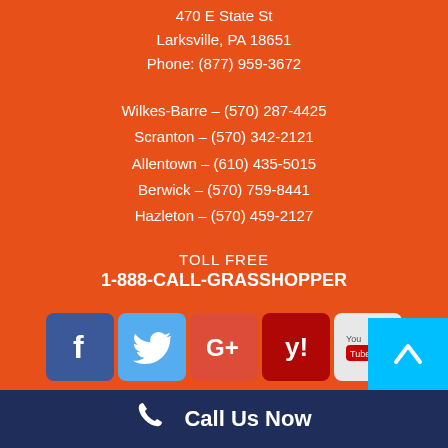470 E State St
Larksville, PA 18651
Phone: (877) 959-3672
Wilkes-Barre – (570) 287-4425
Scranton – (570) 342-2121
Allentown – (610) 435-5015
Berwick – (570) 759-8441
Hazleton – (570) 459-2127
TOLL FREE
1-888-CALL-GRASSHOPPER
[Figure (illustration): Social media icons: Facebook, Twitter, Google+, Yelp, YouTube]
Call Us Now